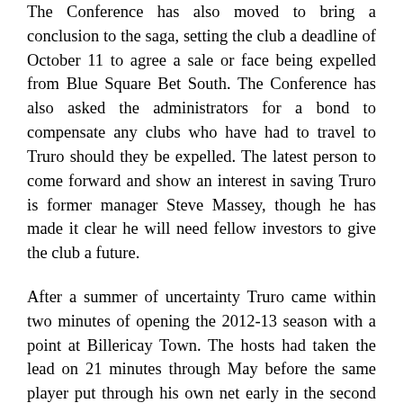The Conference has also moved to bring a conclusion to the saga, setting the club a deadline of October 11 to agree a sale or face being expelled from Blue Square Bet South. The Conference has also asked the administrators for a bond to compensate any clubs who have had to travel to Truro should they be expelled. The latest person to come forward and show an interest in saving Truro is former manager Steve Massey, though he has made it clear he will need fellow investors to give the club a future.
After a summer of uncertainty Truro came within two minutes of opening the 2012-13 season with a point at Billericay Town. The hosts had taken the lead on 21 minutes through May before the same player put through his own net early in the second half to level the scores. Moments later Billericay were reduced to ten men but the White Tigers couldn't take advantage, instead it was the Essex side who secured the win with Lechmere's 88th minute strike. In their opening home game they twice enjoyed two-goal leads only to be pegged back by Havant &